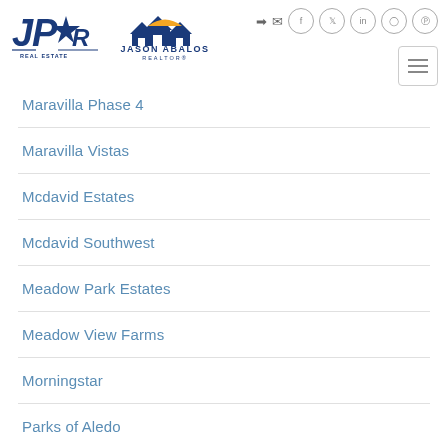JPAR Real Estate — Jason Abalos Realtor
Maravilla Phase 4
Maravilla Vistas
Mcdavid Estates
Mcdavid Southwest
Meadow Park Estates
Meadow View Farms
Morningstar
Parks of Aledo